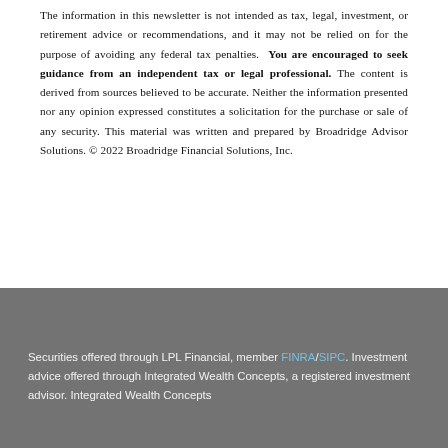The information in this newsletter is not intended as tax, legal, investment, or retirement advice or recommendations, and it may not be relied on for the purpose of avoiding any federal tax penalties. You are encouraged to seek guidance from an independent tax or legal professional. The content is derived from sources believed to be accurate. Neither the information presented nor any opinion expressed constitutes a solicitation for the purchase or sale of any security. This material was written and prepared by Broadridge Advisor Solutions. © 2022 Broadridge Financial Solutions, Inc.
Securities offered through LPL Financial, member FINRA/SIPC. Investment advice offered through Integrated Wealth Concepts, a registered investment advisor. Integrated Wealth Concepts